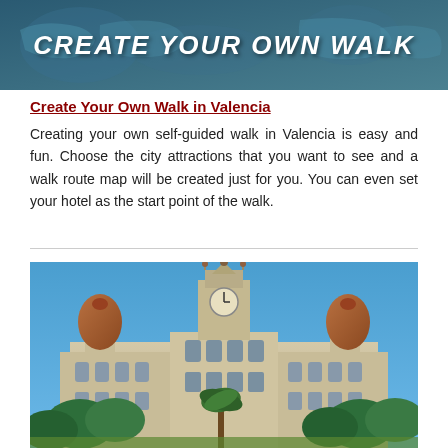[Figure (illustration): Banner with teal/dark blue background showing world map silhouette and bold white italic text reading CREATE YOUR OWN WALK]
Create Your Own Walk in Valencia
Creating your own self-guided walk in Valencia is easy and fun. Choose the city attractions that you want to see and a walk route map will be created just for you. You can even set your hotel as the start point of the walk.
[Figure (photo): Photograph of Valencia City Hall building with ornate baroque architecture, clock tower in center, copper domed towers on sides, blue sky background, palm trees and green trees in foreground]